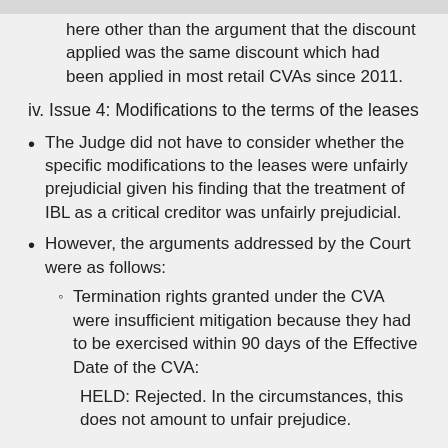here other than the argument that the discount applied was the same discount which had been applied in most retail CVAs since 2011.
iv. Issue 4: Modifications to the terms of the leases
The Judge did not have to consider whether the specific modifications to the leases were unfairly prejudicial given his finding that the treatment of IBL as a critical creditor was unfairly prejudicial.
However, the arguments addressed by the Court were as follows:
Termination rights granted under the CVA were insufficient mitigation because they had to be exercised within 90 days of the Effective Date of the CVA:
HELD: Rejected. In the circumstances, this does not amount to unfair prejudice.